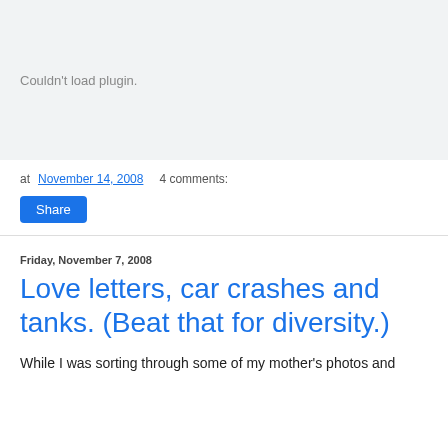[Figure (other): Plugin placeholder area with gray background showing 'Couldn't load plugin.' message]
at November 14, 2008   4 comments:
Share
Friday, November 7, 2008
Love letters, car crashes and tanks. (Beat that for diversity.)
While I was sorting through some of my mother's photos and